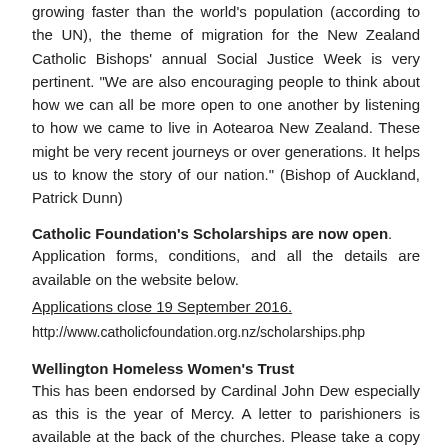growing faster than the world's population (according to the UN), the theme of migration for the New Zealand Catholic Bishops' annual Social Justice Week is very pertinent. "We are also encouraging people to think about how we can all be more open to one another by listening to how we came to live in Aotearoa New Zealand. These might be very recent journeys or over generations. It helps us to know the story of our nation." (Bishop of Auckland, Patrick Dunn)
Catholic Foundation's Scholarships are now open.
Application forms, conditions, and all the details are available on the website below.
Applications close 19 September 2016.
http://www.catholicfoundation.org.nz/scholarships.php
Wellington Homeless Women's Trust
This has been endorsed by Cardinal John Dew especially as this is the year of Mercy. A letter to parishioners is available at the back of the churches. Please take a copy and see what a wonderful service this trust provides and how you can donate to this cause.